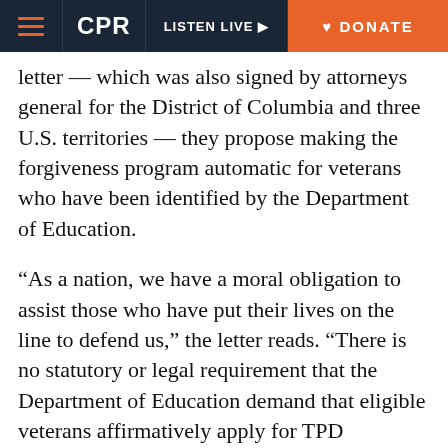CPR  LISTEN LIVE  DONATE
letter — which was also signed by attorneys general for the District of Columbia and three U.S. territories — they propose making the forgiveness program automatic for veterans who have been identified by the Department of Education.
“As a nation, we have a moral obligation to assist those who have put their lives on the line to defend us,” the letter reads. “There is no statutory or legal requirement that the Department of Education demand that eligible veterans affirmatively apply for TPD discharges before the Department will forgive their loans.”
DeVos has not responded publicly to the letter, and